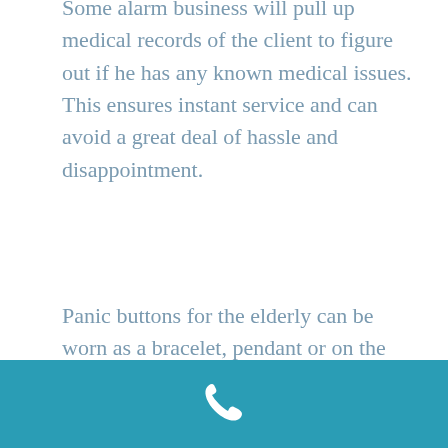Some alarm business will pull up medical records of the client to figure out if he has any known medical issues. This ensures instant service and can avoid a great deal of hassle and disappointment.
Panic buttons for the elderly can be worn as a bracelet, pendant or on the belt. They are usually water proof so there is no problems with the emergency alert systems getting spoiled due to moisture.
[Figure (photo): Black and white photograph of an elderly person's hand holding something small, with a wooden bench or furniture visible in the background.]
phone icon